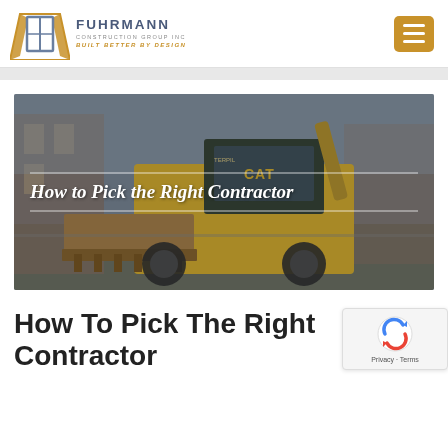[Figure (logo): Fuhrmann Construction Group Inc logo with geometric door/cube icon, company name in blue-grey, tagline BUILT BETTER BY DESIGN in gold]
[Figure (photo): A CAT backhoe loader / construction vehicle driving on a street with blurred background, with overlaid italic text 'How to Pick the Right Contractor' between two horizontal white lines]
How To Pick The Right Contractor